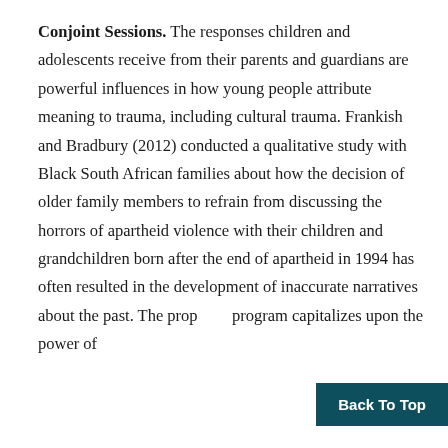Conjoint Sessions. The responses children and adolescents receive from their parents and guardians are powerful influences in how young people attribute meaning to trauma, including cultural trauma. Frankish and Bradbury (2012) conducted a qualitative study with Black South African families about how the decision of older family members to refrain from discussing the horrors of apartheid violence with their children and grandchildren born after the end of apartheid in 1994 has often resulted in the development of inaccurate narratives about the past. The prop program capitalizes upon the power of